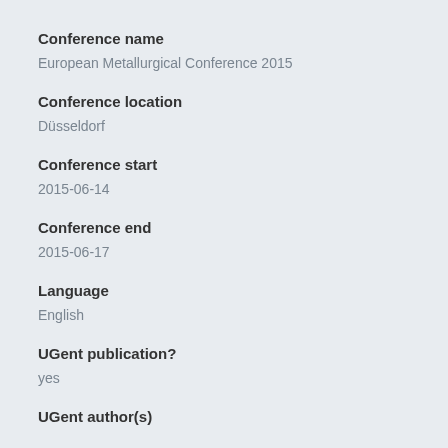Conference name
European Metallurgical Conference 2015
Conference location
Düsseldorf
Conference start
2015-06-14
Conference end
2015-06-17
Language
English
UGent publication?
yes
UGent author(s)